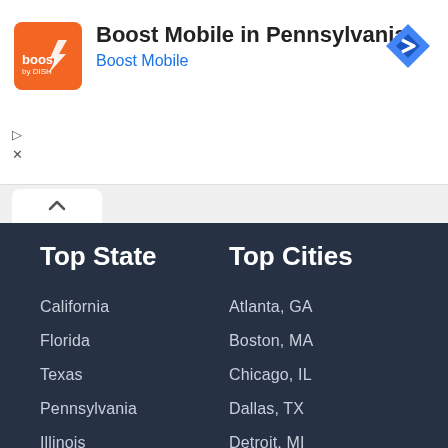[Figure (logo): Boost Mobile orange logo icon]
Boost Mobile in Pennsylvania
Boost Mobile
Top State
Top Cities
California
Atlanta, GA
Florida
Boston, MA
Texas
Chicago, IL
Pennsylvania
Dallas, TX
Illinois
Detroit, MI
Ohio
Houston, TX
New York
Los Angeles, CA
North Carolina
New York, NY